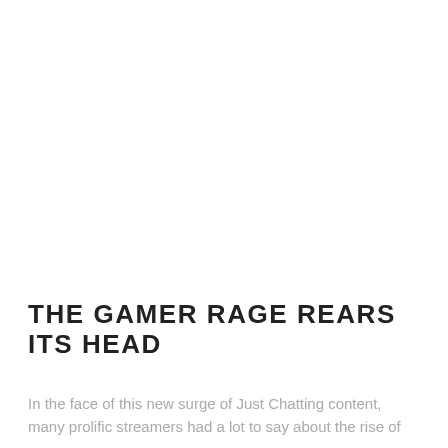THE GAMER RAGE REARS ITS HEAD
In the face of this new surge of Just Chatting content, many prolific streamers had a lot to say about the rise of